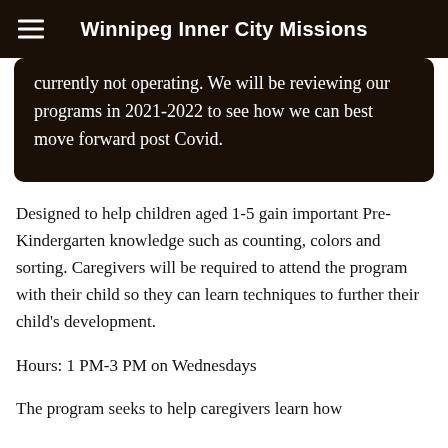Winnipeg Inner City Missions
currently not operating. We will be reviewing our programs in 2021-2022 to see how we can best move forward post Covid.
Designed to help children aged 1-5 gain important Pre-Kindergarten knowledge such as counting, colors and sorting. Caregivers will be required to attend the program with their child so they can learn techniques to further their child's development.
Hours: 1 PM-3 PM on Wednesdays
The program seeks to help caregivers learn how